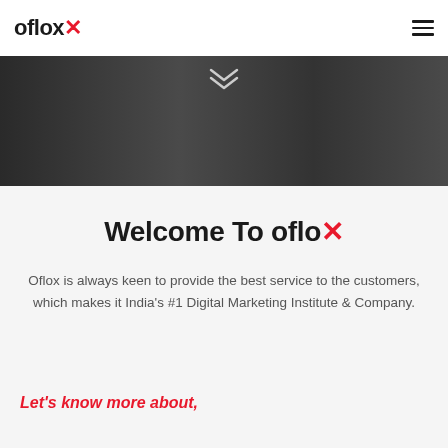oflox
[Figure (photo): Dark hero image band showing a person in background, with a chevron/double-arrow down icon centered at the top of the band]
Welcome To oflox
Oflox is always keen to provide the best service to the customers, which makes it India's #1 Digital Marketing Institute & Company.
Let's know more about,